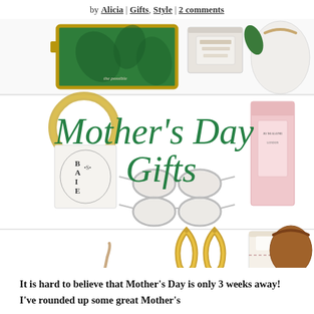by Alicia | Gifts, Style | 2 comments
[Figure (photo): Collage of Mother's Day gift items including a decorative tray, jewelry box, white handbag, gold bracelet, Diptyque candle, sunglasses, Jo Malone perfume, Valentino studded heels, gold earrings, travel case, and brown leather bag. Overlaid with green script text reading 'Mother's Day Gifts'.]
It is hard to believe that Mother's Day is only 3 weeks away! I've rounded up some great Mother's